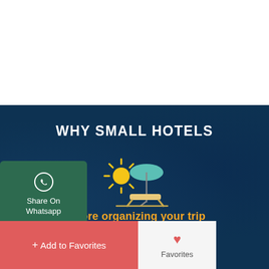[Figure (illustration): Dark blue ocean/water background scene forming the backdrop of the lower half of the page]
WHY SMALL HOTELS
[Figure (illustration): Beach/vacation icon: sun (yellow), umbrella (teal), and lounge chair (tan/beige) arranged together]
Before organizing your trip
Get Recommendation from us!
[Figure (illustration): Green WhatsApp share button with phone/circle icon and 'Share On Whatsapp' label]
[Figure (illustration): Red 'Add to Favorites' button with plus icon and white heart Favorites button]